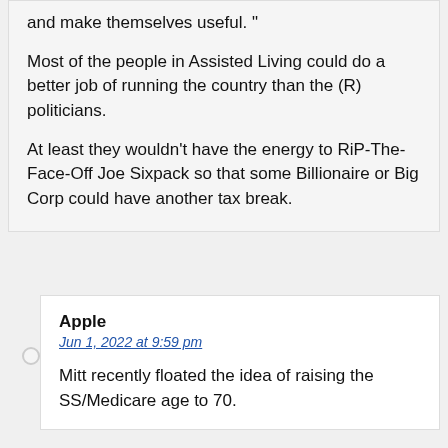and make themselves useful."

Most of the people in Assisted Living could do a better job of running the country than the (R) politicians.

At least they wouldn't have the energy to RiP-The-Face-Off Joe Sixpack so that some Billionaire or Big Corp could have another tax break.
Apple
Jun 1, 2022 at 9:59 pm
Mitt recently floated the idea of raising the SS/Medicare age to 70.